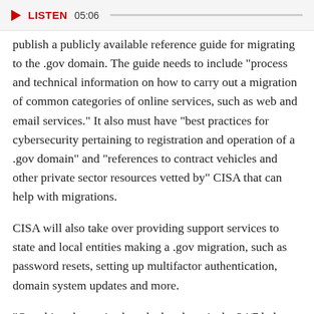LISTEN 05:06
publish a publicly available reference guide for migrating to the .gov domain. The guide needs to include "process and technical information on how to carry out a migration of common categories of online services, such as web and email services." It also must have "best practices for cybersecurity pertaining to registration and operation of a .gov domain" and "references to contract vehicles and other private sector resources vetted by" CISA that can help with migrations.
CISA will also take over providing support services to state and local entities making a .gov migration, such as password resets, setting up multifactor authentication, domain system updates and more.
"One thing that we've heard a lot about is the 24/7 help desk that the .gov program office ran. Anything from technical